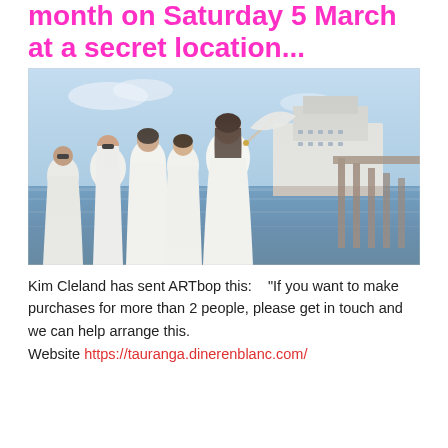month on Saturday 5 March at a secret location...
[Figure (photo): Group of women dressed in white attire walking along a waterfront dock area, with a large cruise ship in the background. The women are smiling and one holds a white parasol umbrella. Blue sky and harbor water visible.]
Kim Cleland has sent ARTbop this:    "If you want to make purchases for more than 2 people, please get in touch and we can help arrange this.
Website https://tauranga.dinerenblanc.com/